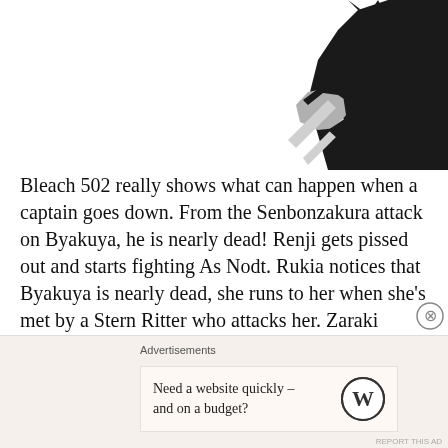[Figure (illustration): Black and white manga illustration showing a dark silhouetted figure with spiky protrusions at the top right corner of the page, with a white/grey hand or glove visible]
Bleach 502 really shows what can happen when a captain goes down. From the Senbonzakura attack on Byakuya, he is nearly dead! Renji gets pissed out and starts fighting As Nodt. Rukia notices that Byakuya is nearly dead, she runs to her when she's met by a Stern Ritter who attacks her. Zaraki appears with a butt load of dead Stern Ritter, he meets the Vandenreich Leader, he of course wants to fight him!
Advertisements
Need a website quickly – and on a budget?